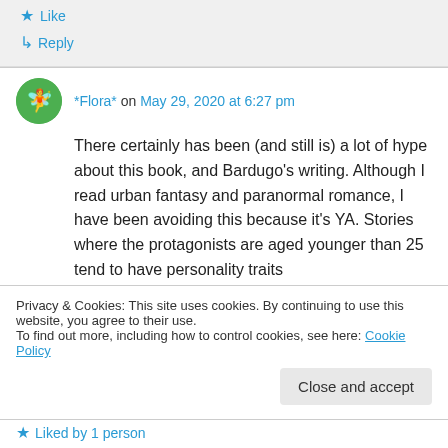Like
Reply
*Flora* on May 29, 2020 at 6:27 pm
There certainly has been (and still is) a lot of hype about this book, and Bardugo's writing. Although I read urban fantasy and paranormal romance, I have been avoiding this because it's YA. Stories where the protagonists are aged younger than 25 tend to have personality traits
Privacy & Cookies: This site uses cookies. By continuing to use this website, you agree to their use.
To find out more, including how to control cookies, see here: Cookie Policy
Close and accept
Liked by 1 person